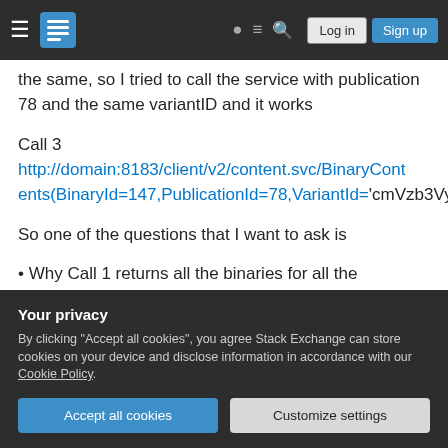Stack Exchange navigation bar with Log in and Sign up buttons
the same, so I tried to call the service with publication 78 and the same variantID and it works
Call 3
http://domain:8183/client/v2/content.svc/BinaryContents(BinaryId=147,PublicationId=78,VariantId='cmVzb3VyY2Vz')/$value
So one of the questions that I want to ask is
• Why Call 1 returns all the binaries for all the publications and why publications of mobile are not
Your privacy
By clicking "Accept all cookies", you agree Stack Exchange can store cookies on your device and disclose information in accordance with our Cookie Policy.
Accept all cookies   Customize settings